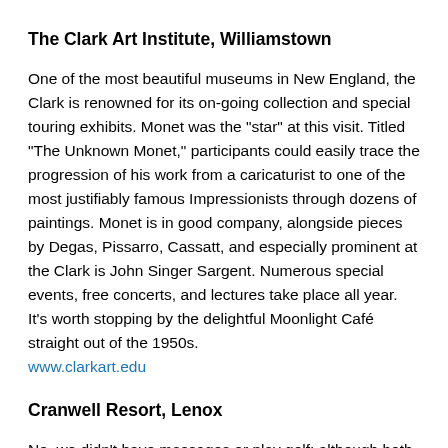The Clark Art Institute, Williamstown
One of the most beautiful museums in New England, the Clark is renowned for its on-going collection and special touring exhibits. Monet was the "star" at this visit. Titled "The Unknown Monet," participants could easily trace the progression of his work from a caricaturist to one of the most justifiably famous Impressionists through dozens of paintings. Monet is in good company, alongside pieces by Degas, Pissarro, Cassatt, and especially prominent at the Clark is John Singer Sargent. Numerous special events, free concerts, and lectures take place all year. It's worth stopping by the delightful Moonlight Café straight out of the 1950s. www.clarkart.edu
Cranwell Resort, Lenox
No, we didn't have massages or play golf; although both would be nice. We did, however, laugh continuously to Capitol Steps. The satirical, nationally known comedy troupe began their annual summer tour at Cranwell last year, and